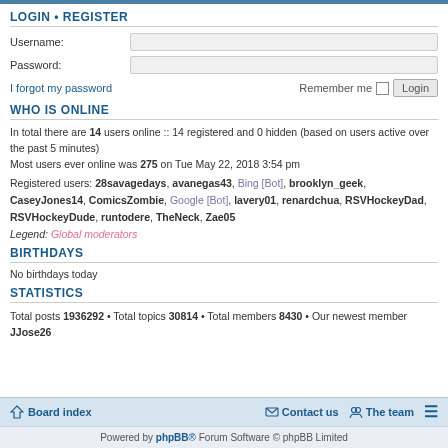LOGIN • REGISTER
Username:
Password:
I forgot my password    Remember me  [  ]  Login
WHO IS ONLINE
In total there are 14 users online :: 14 registered and 0 hidden (based on users active over the past 5 minutes)
Most users ever online was 275 on Tue May 22, 2018 3:54 pm
Registered users: 28savagedays, avanegas43, Bing [Bot], brooklyn_geek, CaseyJones14, ComicsZombie, Google [Bot], lavery01, renardchua, RSVHockeyDad, RSVHockeyDude, runtodere, TheNeck, Zae05
Legend: Global moderators
BIRTHDAYS
No birthdays today
STATISTICS
Total posts 1936292 • Total topics 30814 • Total members 8430 • Our newest member JJose26
Board index   Contact us   The team   ≡
Powered by phpBB® Forum Software © phpBB Limited